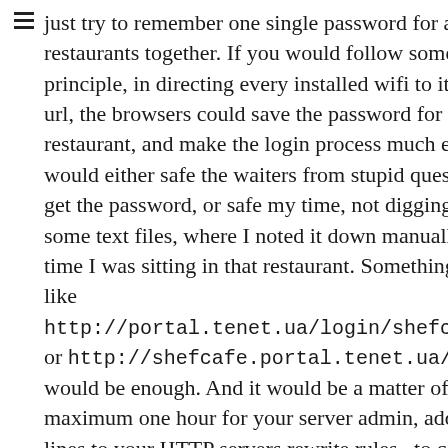just try to remember one single password for all restaurants together. If you would follow some simple principle, in directing every installed wifi to it's own url, the browsers could save the password for every restaurant, and make the login process much easier. It would either safe the waiters from stupid questions to get the password, or safe my time, not digging into some text files, where I noted it down manually the last time I was sitting in that restaurant. Something simple like http://portal.tenet.ua/login/shefcafe/... or http://shefcafe.portal.tenet.ua/login would be enough. And it would be a matter of maximum one hour for your server admin, adding three lines to your HTTP servers rewrite rules , to configure something like that, without even